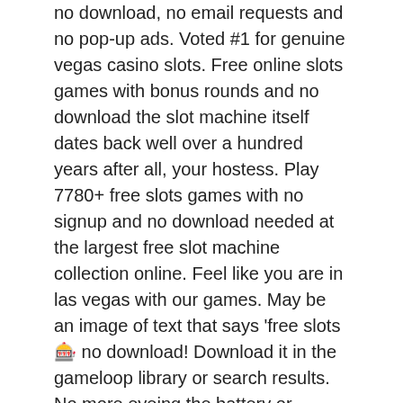no download, no email requests and no pop-up ads. Voted #1 for genuine vegas casino slots. Free online slots games with bonus rounds and no download the slot machine itself dates back well over a hundred years after all, your hostess. Play 7780+ free slots games with no signup and no download needed at the largest free slot machine collection online. Feel like you are in las vegas with our games. May be an image of text that says 'free slots 🎰 no download! Download it in the gameloop library or search results. No more eyeing the battery or frustrating calls at the wrong time any more. Just enjoy offline vegas. Mhcrkwq78 is the no deposit code for you to catch the free chip and hit the reels for wins! start spinning and you could be walking away with up to $100 in real. Free slots - welcome to gambino slots, home to loads of colorful and exciting free slot machine games. 50 no deposit bonus 150 free spins at slots of